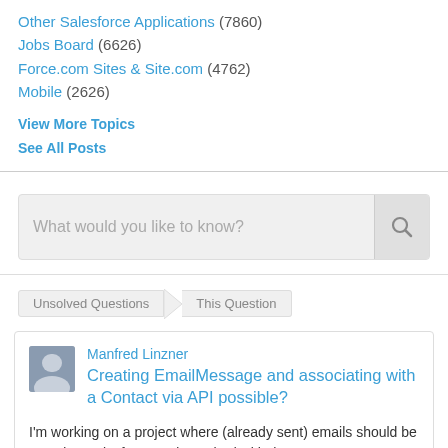Other Salesforce Applications (7860)
Jobs Board (6626)
Force.com Sites & Site.com (4762)
Mobile (2626)
View More Topics
See All Posts
[Figure (screenshot): Search box with placeholder text 'What would you like to know?' and a search button with magnifying glass icon]
Unsolved Questions > This Question
Manfred Linzner
Creating EmailMessage and associating with a Contact via API possible?
I'm working on a project where (already sent) emails should be saved to Salesforce and matched with the